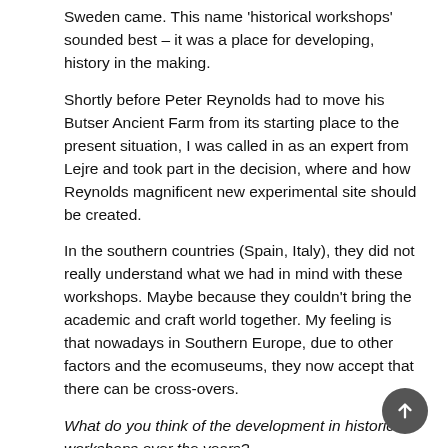Sweden came. This name 'historical workshops' sounded best – it was a place for developing, history in the making.
Shortly before Peter Reynolds had to move his Butser Ancient Farm from its starting place to the present situation, I was called in as an expert from Lejre and took part in the decision, where and how Reynolds magnificent new experimental site should be created.
In the southern countries (Spain, Italy), they did not really understand what we had in mind with these workshops. Maybe because they couldn't bring the academic and craft world together. My feeling is that nowadays in Southern Europe, due to other factors and the ecomuseums, they now accept that there can be cross-overs.
What do you think of the development in historical workshops over the years?
The development of historical workshops in and outside Demark from the 1970s onwards was all in all positive,